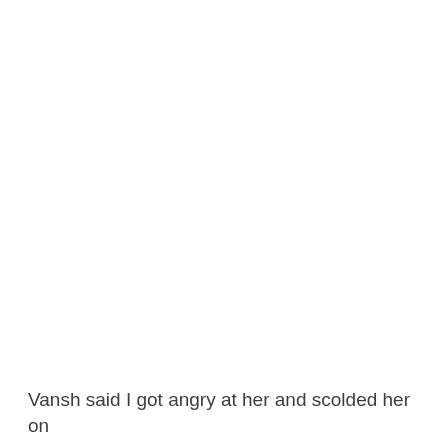Vansh said I got angry at her and scolded her on